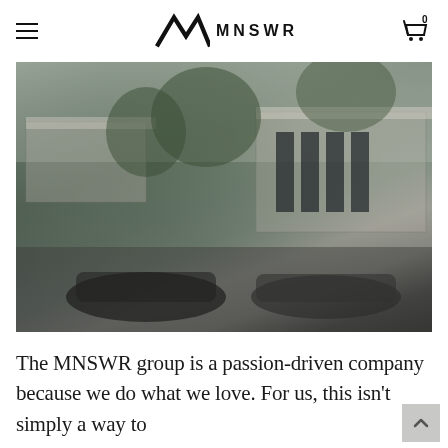MNSWR
[Figure (photo): Black and white photograph of a modernist multi-level house with flat roofs, large glass windows, lush trees and vegetation, and luxury cars parked in the driveway.]
The MNSWR group is a passion-driven company because we do what we love. For us, this isn't simply a way to